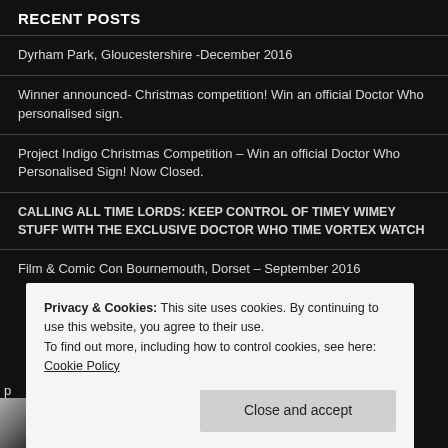RECENT POSTS
Dyrham Park, Gloucestershire -December 2016
Winner announced- Christmas competition! Win an official Doctor Who personalised sign.
Project Indigo Christmas Competition – Win an official Doctor Who Personalised Sign! Now Closed.
CALLING ALL TIME LORDS: KEEP CONTROL OF TIMEY WIMEY STUFF WITH THE EXCLUSIVE DOCTOR WHO TIME VORTEX WATCH
Film & Comic Con Bournemouth, Dorset – September 2016
Privacy & Cookies: This site uses cookies. By continuing to use this website, you agree to their use.
To find out more, including how to control cookies, see here: Cookie Policy
Close and accept